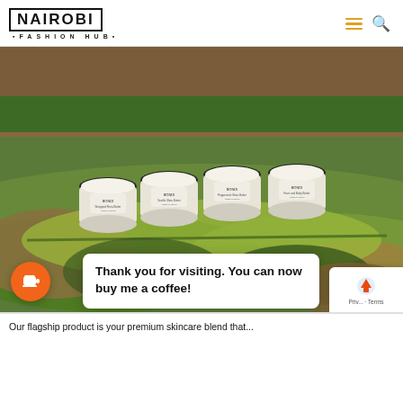NAIROBI FASHION HUB
[Figure (photo): Four small white jars of shea butter products (Wrapped Shea Butter, Vanilla Shea Butter, Peppermint Shea Butter, Face and Body Butter) by BONDI, arranged on large green and brown leaves outdoors on grass.]
Thank you for visiting. You can now buy me a coffee!
Our flagship products is your premium skincare blend that...